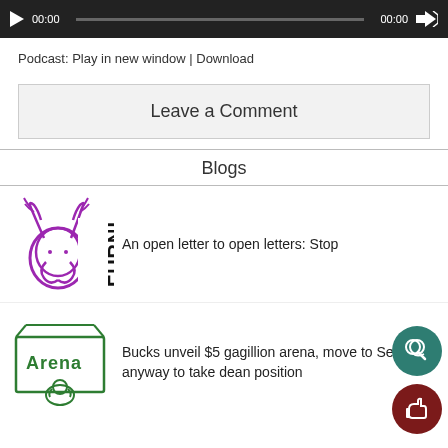[Figure (screenshot): Audio player bar with play button, time display 00:00, progress bar, and volume icon on dark background]
Podcast: Play in new window | Download
Leave a Comment
Blogs
[Figure (logo): FURNI logo with purple illustration of a head with antlers]
An open letter to open letters: Stop
[Figure (illustration): Hand-drawn green illustration of an arena box with a duck/bird figure]
Bucks unveil $5 gagillion arena, move to Seattle anyway to take dean position